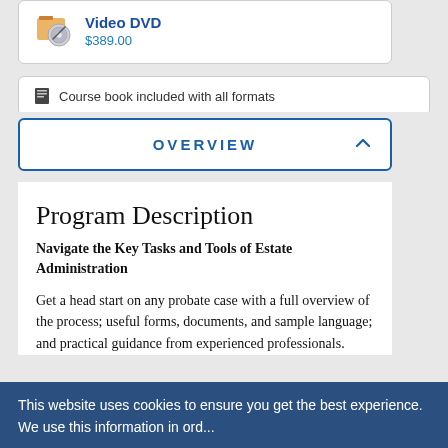[Figure (other): DVD icon with orange/brown disc graphic]
Video DVD
$389.00
Course book included with all formats
OVERVIEW
Program Description
Navigate the Key Tasks and Tools of Estate Administration
Get a head start on any probate case with a full overview of the process; useful forms, documents, and sample language; and practical guidance from experienced professionals.
This website uses cookies to ensure you get the best experience. We use this information in ord...